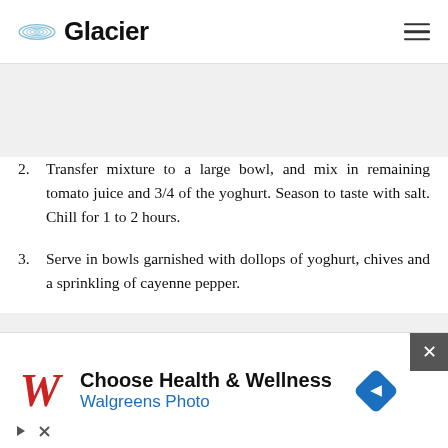Glacier
the bowl of a food processor, and process until smooth. Pour in 1/4 of the tomato juice, and process to blend.
2. Transfer mixture to a large bowl, and mix in remaining tomato juice and 3/4 of the yoghurt. Season to taste with salt. Chill for 1 to 2 hours.
3. Serve in bowls garnished with dollops of yoghurt, chives and a sprinkling of cayenne pepper.
[Figure (other): Walgreens advertisement banner: Choose Health & Wellness - Walgreens Photo]